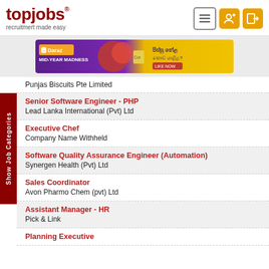topjobs® - recruitment made easy
[Figure (infographic): Daraz Mid-Year Madness advertisement banner]
Punjas Biscuits Pte Limited
Senior Software Engineer - PHP
Lead Lanka International (Pvt) Ltd
Executive Chef
Company Name Withheld
Software Quality Assurance Engineer (Automation)
Synergen Health (Pvt) Ltd
Sales Coordinator
Avon Pharmo Chem (pvt) Ltd
Assistant Manager - HR
Pick & Link
Planning Executive